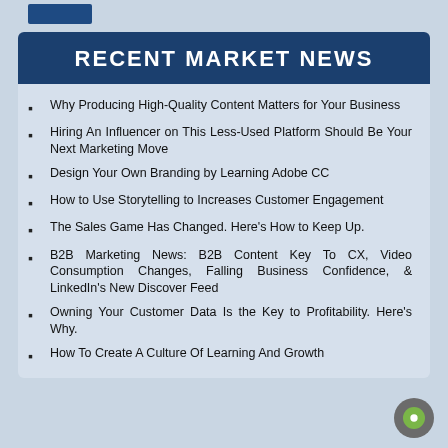[Figure (other): Dark blue rectangle button/badge at top left]
RECENT MARKET NEWS
Why Producing High-Quality Content Matters for Your Business
Hiring An Influencer on This Less-Used Platform Should Be Your Next Marketing Move
Design Your Own Branding by Learning Adobe CC
How to Use Storytelling to Increases Customer Engagement
The Sales Game Has Changed. Here's How to Keep Up.
B2B Marketing News: B2B Content Key To CX, Video Consumption Changes, Falling Business Confidence, & LinkedIn's New Discover Feed
Owning Your Customer Data Is the Key to Profitability. Here's Why.
How To Create A Culture Of Learning And Growth